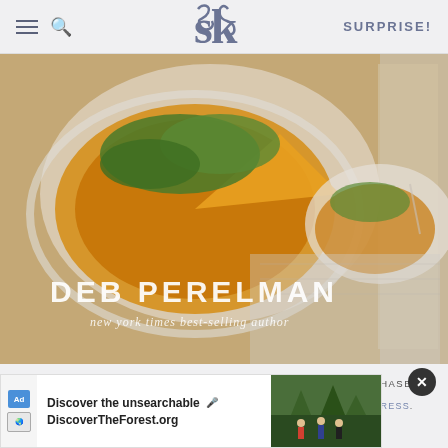SK — Smitten Kitchen — SURPRISE!
[Figure (photo): Book cover photo showing a frittata or Spanish tortilla on a white plate with green salad on top, with cookbook cover showing 'DEB PERELMAN, new york times best-selling author']
AS AN AMAZON ASSOCIATE I EARN FROM QUALIFYING PURCHASES.
©2009-2022 SMITTEN KITCHEN. PROUDLY POWERED BY WORDPRESS. HOSTED BY PRESSABLE.
[Figure (screenshot): Ad banner: 'Discover the unsearchable' — DiscoverTheForest.org with forest image and ad icons]